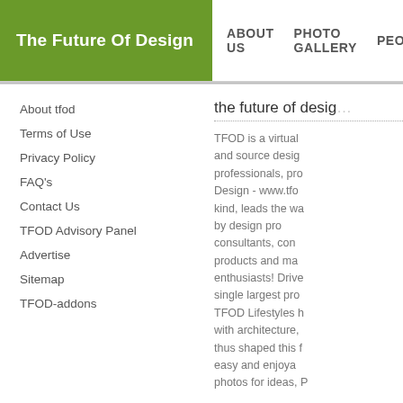The Future Of Design | ABOUT US  PHOTO GALLERY  PEOPLE
About tfod
Terms of Use
Privacy Policy
FAQ's
Contact Us
TFOD Advisory Panel
Advertise
Sitemap
TFOD-addons
the future of desig...
TFOD is a virtual and source desig professionals, pro Design - www.tfo kind, leads the wa by design pro consultants, con products and ma enthusiasts! Drive single largest pro TFOD Lifestyles h with architecture, thus shaped this f easy and enjoya photos for ideas, P Catalogs, Enjoy An shape The Future